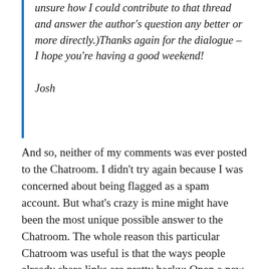unsure how I could contribute to that thread and answer the author's question any better or more directly.)Thanks again for the dialogue – I hope you're having a good weekend!

Josh
And so, neither of my comments was ever posted to the Chatroom. I didn't try again because I was concerned about being flagged as a spam account. But what's crazy is mine might have been the most unique possible answer to the Chatroom. The whole reason this particular Chatroom was useful is that the ways people already share links are pretty hacky: Open a new tab in Chrome so it syncs through the cloud – that works for one person, but what about sharing with someone else? Evernote – same thing. I actually had a unique take on the question, but I wasn't allowed to post because I was sharing info on a tool that wasn't already mainstream.